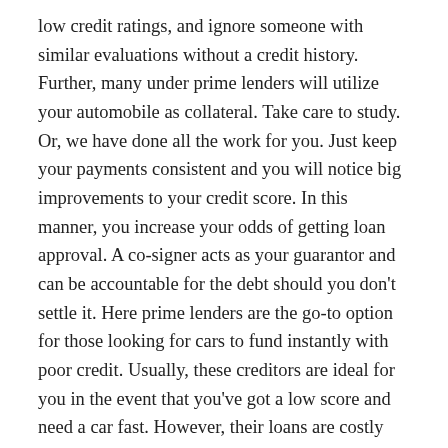low credit ratings, and ignore someone with similar evaluations without a credit history. Further, many under prime lenders will utilize your automobile as collateral. Take care to study. Or, we have done all the work for you. Just keep your payments consistent and you will notice big improvements to your credit score. In this manner, you increase your odds of getting loan approval. A co-signer acts as your guarantor and can be accountable for the debt should you don't settle it. Here prime lenders are the go-to option for those looking for cars to fund instantly with poor credit. Usually, these creditors are ideal for you in the event that you've got a low score and need a car fast. However, their loans are costly and might not be a good alternative if you can't create consistent car payments. Low monthly payments can be appealing on paper and are often utilized to persuade buyers. However, you might end up paying much